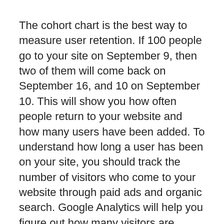The cohort chart is the best way to measure user retention. If 100 people go to your site on September 9, then two of them will come back on September 16, and 10 on September 10. This will show you how often people return to your website and how many users have been added. To understand how long a user has been on your site, you should track the number of visitors who come to your website through paid ads and organic search. Google Analytics will help you figure out how many visitors are returning to your site.
Cohort analysis is another useful tool. Cohorts are groups of users with a common characteristic. A cohort will include users with the same acquisition date (ACD), as well as new